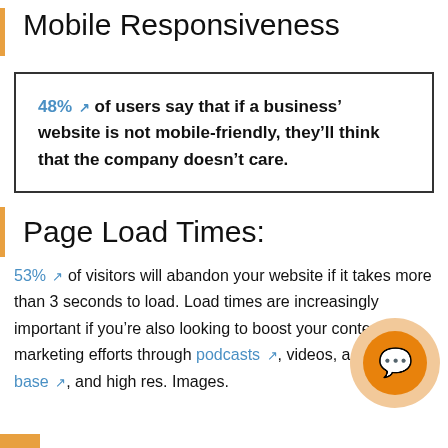Mobile Responsiveness
48% ↗ of users say that if a business' website is not mobile-friendly, they'll think that the company doesn't care.
Page Load Times:
53% ↗ of visitors will abandon your website if it takes more than 3 seconds to load. Load times are increasingly important if you're also looking to boost your content marketing efforts through podcasts ↗, videos, a knowledge base ↗, and high res. Images.